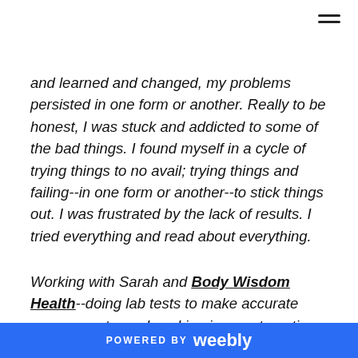and learned and changed, my problems persisted in one form or another. Really to be honest, I was stuck and addicted to some of the bad things. I found myself in a cycle of trying things to no avail; trying things and failing--in one form or another--to stick things out. I was frustrated by the lack of results. I tried everything and read about everything.
Working with Sarah and Body Wisdom Health--doing lab tests to make accurate assessments, and working in a systematic way to address how
POWERED BY weebly